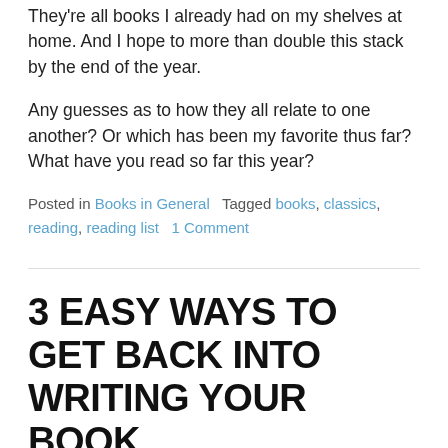They're all books I already had on my shelves at home. And I hope to more than double this stack by the end of the year.
Any guesses as to how they all relate to one another? Or which has been my favorite thus far? What have you read so far this year?
Posted in Books in General   Tagged books, classics, reading, reading list   1 Comment
3 EASY WAYS TO GET BACK INTO WRITING YOUR BOOK
Posted on January 18, 2014